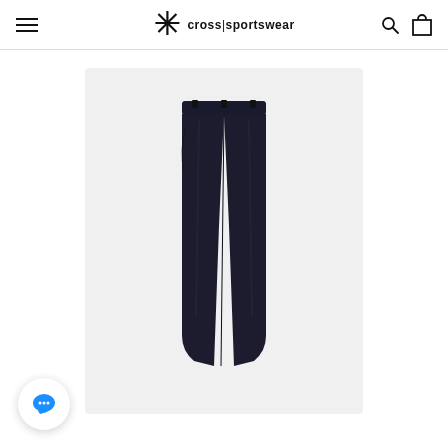cross|sportswear — navigation header with hamburger menu, logo, search and cart icons
[Figure (photo): Dark navy/black slim-fit golf trousers displayed on a light gray background. The pants have an elasticated waistband and tapered leg silhouette.]